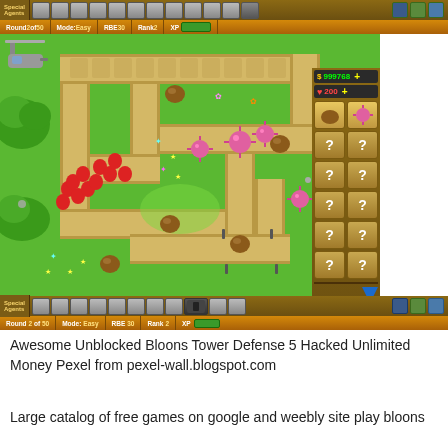[Figure (screenshot): Screenshot of Bloons Tower Defense 5 video game showing a maze-like path with red balloons, pink spiky bloons, and brown blobs on a green background. Top HUD shows 'Round 2 of 50', 'Mode: Easy', 'RBE 30', 'Rank 2', 'XP bar'. Right sidebar shows '$999768' money and '200' lives with tower slots showing '?' marks. Bottom HUD repeats the same info. Game features a helicopter in top-left.]
Awesome Unblocked Bloons Tower Defense 5 Hacked Unlimited Money Pexel from pexel-wall.blogspot.com
Large catalog of free games on google and weebly site play bloons